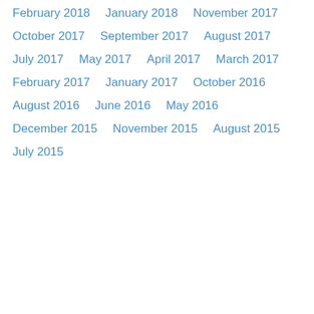February 2018
January 2018
November 2017
October 2017
September 2017
August 2017
July 2017
May 2017
April 2017
March 2017
February 2017
January 2017
October 2016
August 2016
June 2016
May 2016
December 2015
November 2015
August 2015
July 2015